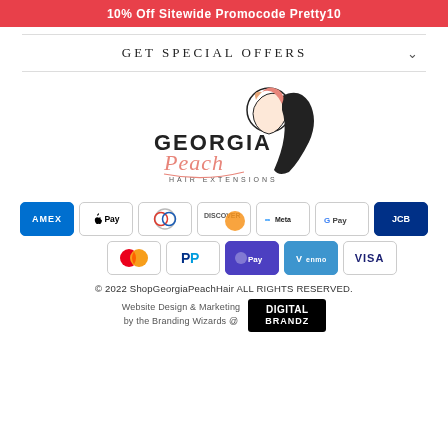10% Off Sitewide Promocode Pretty10
GET SPECIAL OFFERS
[Figure (logo): Georgia Peach Hair Extensions logo with stylized woman silhouette and script lettering]
[Figure (infographic): Payment method icons: AMEX, Apple Pay, Diners, Discover, Meta, Google Pay, JCB, Mastercard, PayPal, OPay, Venmo, Visa]
© 2022 ShopGeorgiaPeachHair ALL RIGHTS RESERVED.
Website Design & Marketing by the Branding Wizards @ DIGITAL BRANDZ